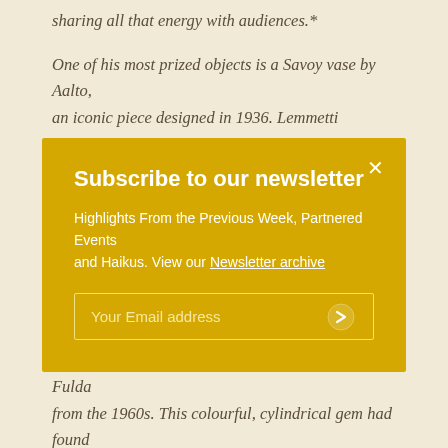sharing all that energy with audiences.
One of his most prized objects is a Savoy vase by Aalto, an iconic piece designed in 1936. Lemmetti appreciates the revered and iconic designer's style in general, for his
Subscribe to our newsletter
Highlights From the Previous Week, Partnered Events and Haikus. View our Newsletter archive
Your Email address
discoveries, however, was a unique Bambu vase by Fulda from the 1960s. This colourful, cylindrical gem had found its way to Australia, and Lemmetti was thrilled to acquire the precious piece. 'My excitement was great when the parcel finally arrived one month later and revealed one of the best samples of that line,' he says, the joy still